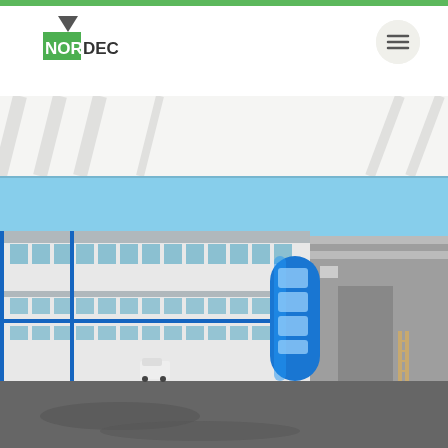[Figure (logo): NORDEC company logo with a dark grey triangle/arrow shape on top and green square background with white text 'NOR' and dark text 'DEC']
[Figure (photo): Exterior photograph of a large industrial/commercial building complex with a multi-storey white and grey office wing with large windows on the left, a blue cylindrical glass entrance tower in the center, and a large grey warehouse/industrial hall on the right. The foreground shows a large empty asphalt area. Clear blue sky in the background.]